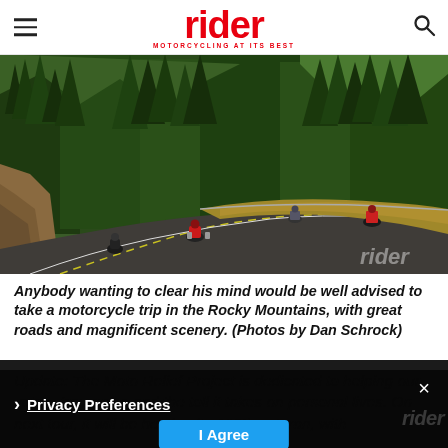rider — MOTORCYCLING AT ITS BEST
[Figure (photo): Motorcyclists riding on a winding mountain road surrounded by tall conifer trees and rocky terrain, with four riders visible taking a curve.]
Anybody wanting to clear his mind would be well advised to take a motorcycle trip in the Rocky Mountains, with great roads and magnificent scenery. (Photos by Dan Schrock)
Update: The Moto Relief Project is dedicated to helping our vete... traumas c and the toll it takes on personal lives. On next tour, it will be helping its 100th veteran, with
Privacy Preferences
I Agree